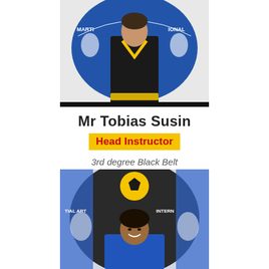[Figure (photo): Man in black martial arts uniform with yellow trim and belt, standing in front of a martial arts international banner with blue and white design]
Mr Tobias Susin
Head Instructor
3rd degree Black Belt
[Figure (photo): Young man smiling, wearing a blue martial arts uniform, standing in front of a martial arts international banner]